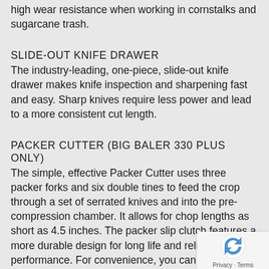high wear resistance when working in cornstalks and sugarcane trash.
SLIDE-OUT KNIFE DRAWER
The industry-leading, one-piece, slide-out knife drawer makes knife inspection and sharpening fast and easy. Sharp knives require less power and lead to a more consistent cut length.
PACKER CUTTER (BIG BALER 330 PLUS ONLY)
The simple, effective Packer Cutter uses three packer forks and six double tines to feed the crop through a set of serrated knives and into the pre-compression chamber. It allows for chop lengths as short as 4.5 inches. The packer slip clutch features a more durable design for long life and reliable performance. For convenience, you can engage and disengage the cutter